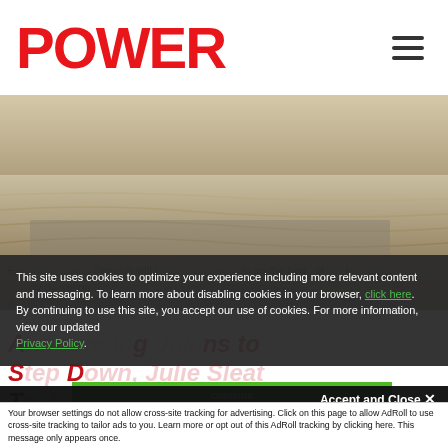POWER
[Figure (photo): Aerial or landscape photo of sandy/earthy terrain with rippling patterns, shown behind cookie overlay]
This site uses cookies to optimize your experience including more relevant content and messaging. To learn more about disabling cookies in your browser, click here. By continuing to use this site, you accept our use of cookies. For more information, view our updated Privacy Policy.
Accept and Close ×
Your browser settings do not allow cross-site tracking for advertising. Click on this page to allow AdRoll to use cross-site tracking to tailor ads to you. Learn more or opt out of this AdRoll tracking by clicking here. This message only appears once.